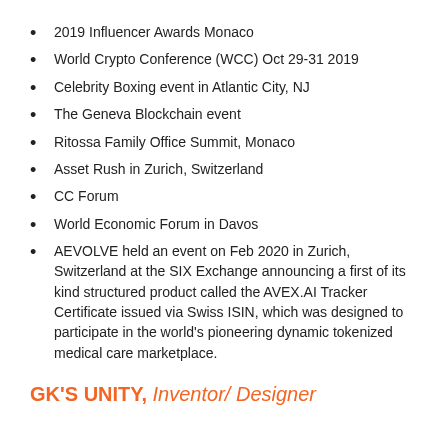2019 Influencer Awards Monaco
World Crypto Conference (WCC) Oct 29-31 2019
Celebrity Boxing event in Atlantic City, NJ
The Geneva Blockchain event
Ritossa Family Office Summit, Monaco
Asset Rush in Zurich, Switzerland
CC Forum
World Economic Forum in Davos
AEVOLVE held an event on Feb 2020 in Zurich, Switzerland at the SIX Exchange announcing a first of its kind structured product called the AVEX.AI Tracker Certificate issued via Swiss ISIN, which was designed to participate in the world's pioneering dynamic tokenized medical care marketplace.
GK'S UNITY, Inventor/ Designer